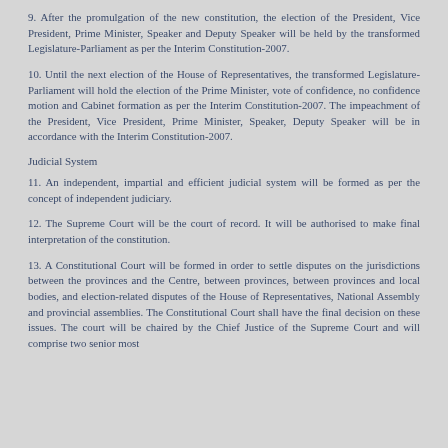9. After the promulgation of the new constitution, the election of the President, Vice President, Prime Minister, Speaker and Deputy Speaker will be held by the transformed Legislature-Parliament as per the Interim Constitution-2007.
10. Until the next election of the House of Representatives, the transformed Legislature-Parliament will hold the election of the Prime Minister, vote of confidence, no confidence motion and Cabinet formation as per the Interim Constitution-2007. The impeachment of the President, Vice President, Prime Minister, Speaker, Deputy Speaker will be in accordance with the Interim Constitution-2007.
Judicial System
11. An independent, impartial and efficient judicial system will be formed as per the concept of independent judiciary.
12. The Supreme Court will be the court of record. It will be authorised to make final interpretation of the constitution.
13. A Constitutional Court will be formed in order to settle disputes on the jurisdictions between the provinces and the Centre, between provinces, between provinces and local bodies, and election-related disputes of the House of Representatives, National Assembly and provincial assemblies. The Constitutional Court shall have the final decision on these issues. The court will be chaired by the Chief Justice of the Supreme Court and will comprise two senior most